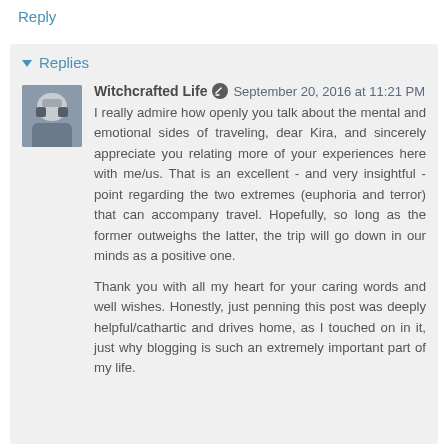Reply
Replies
Witchcrafted Life  September 20, 2016 at 11:21 PM
I really admire how openly you talk about the mental and emotional sides of traveling, dear Kira, and sincerely appreciate you relating more of your experiences here with me/us. That is an excellent - and very insightful - point regarding the two extremes (euphoria and terror) that can accompany travel. Hopefully, so long as the former outweighs the latter, the trip will go down in our minds as a positive one.

Thank you with all my heart for your caring words and well wishes. Honestly, just penning this post was deeply helpful/cathartic and drives home, as I touched on in it, just why blogging is such an extremely important part of my life.